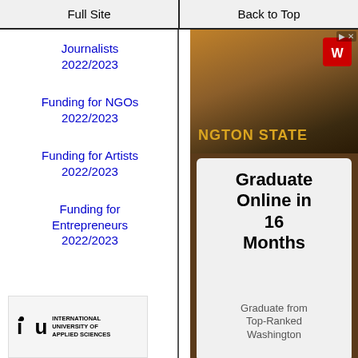Full Site | Back to Top
Journalists 2022/2023
Funding for NGOs 2022/2023
Funding for Artists 2022/2023
Funding for Entrepreneurs 2022/2023
[Figure (photo): Washington State University advertisement showing campus sign and logo with text 'Graduate Online in 16 Months' and 'Graduate from Top-Ranked Washington']
[Figure (logo): IU International University of Applied Sciences logo]